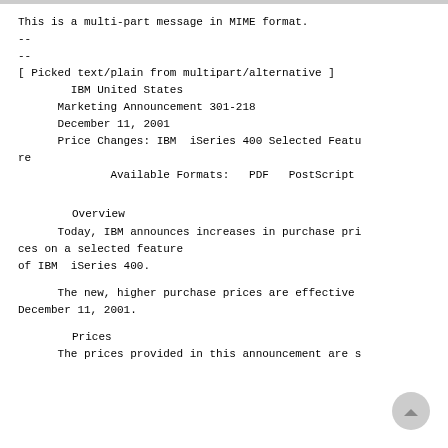This is a multi-part message in MIME format.
--
--
[ Picked text/plain from multipart/alternative ]
        IBM United States
      Marketing Announcement 301-218
      December 11, 2001
      Price Changes: IBM  iSeries 400 Selected Feature
              Available Formats:   PDF   PostScript
Overview
Today, IBM announces increases in purchase prices on a selected feature
of IBM  iSeries 400.
The new, higher purchase prices are effective December 11, 2001.
Prices
The prices provided in this announcement are s